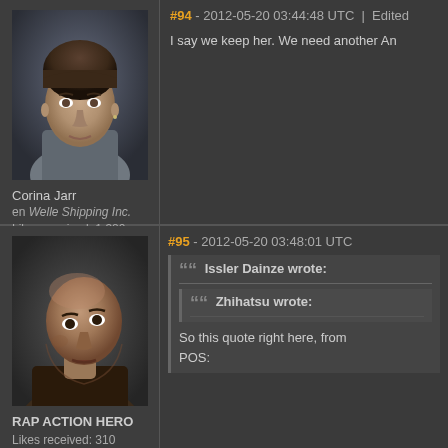[Figure (photo): Avatar portrait of a woman with short brown hair against a dark background]
Corina Jarr
en Welle Shipping Inc.
Likes received: 1,380
#94 - 2012-05-20 03:44:48 UTC | Edited
I say we keep her. We need another An
[Figure (photo): Avatar portrait of a bald man with dark skin looking upward against a dark background]
RAP ACTION HERO
Likes received: 310
#95 - 2012-05-20 03:48:01 UTC
Issler Dainze wrote:
Zhihatsu wrote:
So this quote right here, from
POS: